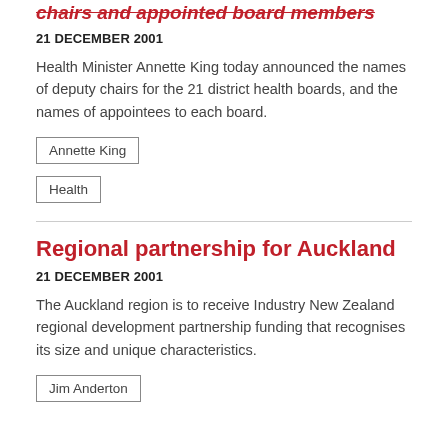chairs and appointed board members
21 DECEMBER 2001
Health Minister Annette King today announced the names of deputy chairs for the 21 district health boards, and the names of appointees to each board.
Annette King
Health
Regional partnership for Auckland
21 DECEMBER 2001
The Auckland region is to receive Industry New Zealand regional development partnership funding that recognises its size and unique characteristics.
Jim Anderton